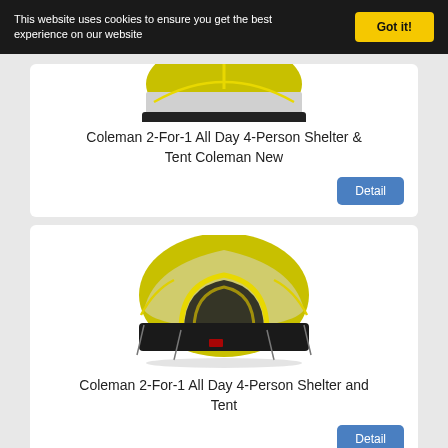This website uses cookies to ensure you get the best experience on our website
Got it!
[Figure (photo): Coleman 2-For-1 All Day 4-Person Shelter & Tent product image (partial/cropped) - yellow and black dome tent]
Coleman 2-For-1 All Day 4-Person Shelter & Tent Coleman New
Detail
[Figure (photo): Coleman 2-For-1 All Day 4-Person Shelter and Tent product image - yellow and black dome tent with grey accent poles]
Coleman 2-For-1 All Day 4-Person Shelter and Tent
Detail